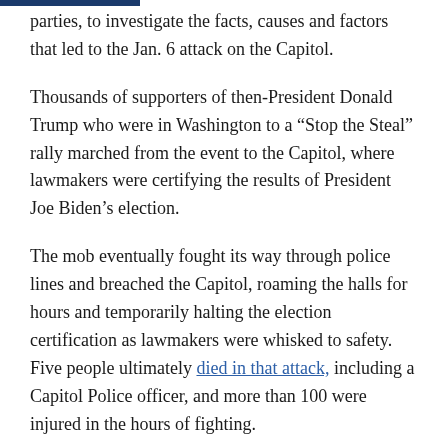parties, to investigate the facts, causes and factors that led to the Jan. 6 attack on the Capitol.
Thousands of supporters of then-President Donald Trump who were in Washington to a “Stop the Steal” rally marched from the event to the Capitol, where lawmakers were certifying the results of President Joe Biden’s election.
The mob eventually fought its way through police lines and breached the Capitol, roaming the halls for hours and temporarily halting the election certification as lawmakers were whisked to safety. Five people ultimately died in that attack, including a Capitol Police officer, and more than 100 were injured in the hours of fighting.
“Let’s tell the truth: Democracy itself was violently attacked